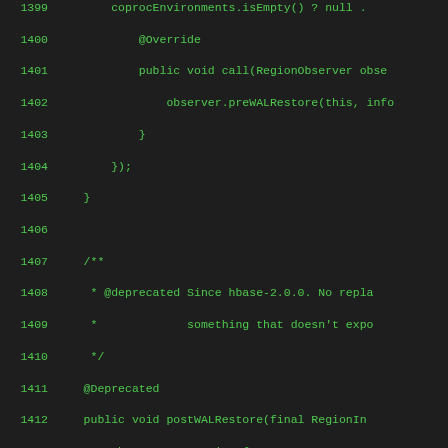Source code listing, lines 1399-1427, Java code with line numbers in green monospace font on dark background